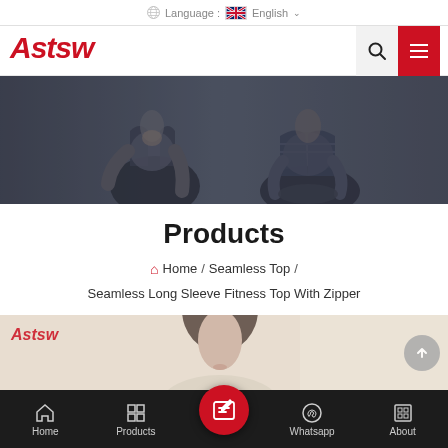Language : English
[Figure (screenshot): ASTSW logo in red italic font on white navigation bar with search icon and red hamburger menu button]
[Figure (photo): Two women in yoga meditation pose wearing athletic wear, dark moody background]
Products
Home / Seamless Top / Seamless Long Sleeve Fitness Top With Zipper
[Figure (photo): Partial product photo showing woman's face and ASTSW logo watermark, with scroll-to-top button]
Home  Products  Whatsapp  About